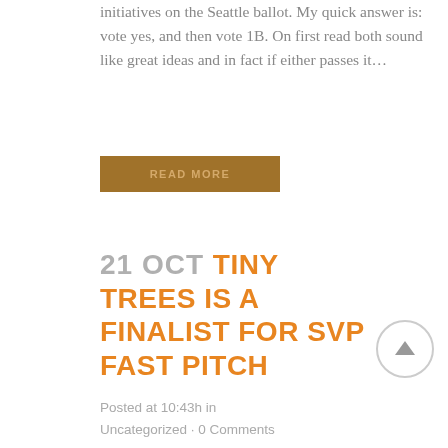initiatives on the Seattle ballot. My quick answer is: vote yes, and then vote 1B. On first read both sound like great ideas and in fact if either passes it…
READ MORE
21 OCT TINY TREES IS A FINALIST FOR SVP FAST PITCH
Posted at 10:43h in
Uncategorized · 0 Comments